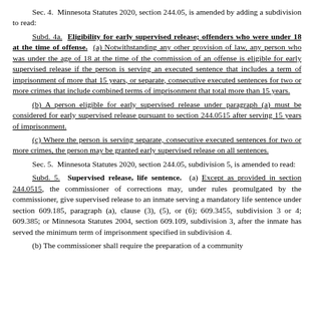Sec. 4. Minnesota Statutes 2020, section 244.05, is amended by adding a subdivision to read:
Subd. 4a. Eligibility for early supervised release; offenders who were under 18 at the time of offense. (a) Notwithstanding any other provision of law, any person who was under the age of 18 at the time of the commission of an offense is eligible for early supervised release if the person is serving an executed sentence that includes a term of imprisonment of more that 15 years, or separate, consecutive executed sentences for two or more crimes that include combined terms of imprisonment that total more than 15 years.
(b) A person eligible for early supervised release under paragraph (a) must be considered for early supervised release pursuant to section 244.0515 after serving 15 years of imprisonment.
(c) Where the person is serving separate, consecutive executed sentences for two or more crimes, the person may be granted early supervised release on all sentences.
Sec. 5. Minnesota Statutes 2020, section 244.05, subdivision 5, is amended to read:
Subd. 5. Supervised release, life sentence. (a) Except as provided in section 244.0515, the commissioner of corrections may, under rules promulgated by the commissioner, give supervised release to an inmate serving a mandatory life sentence under section 609.185, paragraph (a), clause (3), (5), or (6); 609.3455, subdivision 3 or 4; 609.385; or Minnesota Statutes 2004, section 609.109, subdivision 3, after the inmate has served the minimum term of imprisonment specified in subdivision 4.
(b) The commissioner shall require the preparation of a community